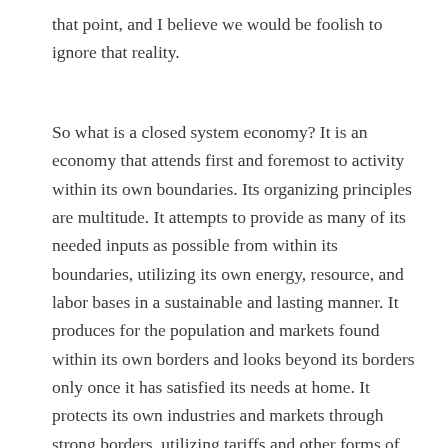that point, and I believe we would be foolish to ignore that reality.
So what is a closed system economy? It is an economy that attends first and foremost to activity within its own boundaries. Its organizing principles are multitude. It attempts to provide as many of its needed inputs as possible from within its boundaries, utilizing its own energy, resource, and labor bases in a sustainable and lasting manner. It produces for the population and markets found within its own borders and looks beyond its borders only once it has satisfied its needs at home. It protects its own industries and markets through strong borders, utilizing tariffs and other forms of economic protectionism as needed and controlling the cross-border flow of labor. It ensures the health of its